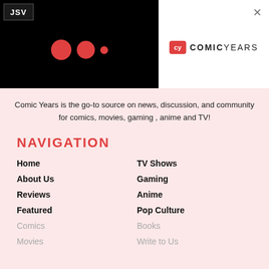[Figure (screenshot): Black video player area with three red circles (loading dots) and JSV label in top-left corner]
[Figure (logo): Comic Years logo with red CY icon and COMICYEARS text, and X close button]
Comic Years is the go-to source on news, discussion, and community for comics, movies, gaming , anime and TV!
NAVIGATION
Home
About Us
Reviews
Featured
Comics
Movies
TV Shows
Gaming
Anime
Pop Culture
Books
Write to Us